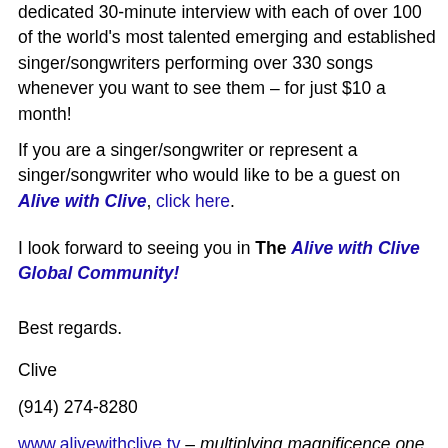dedicated 30-minute interview with each of over 100 of the world's most talented emerging and established singer/songwriters performing over 330 songs whenever you want to see them – for just $10 a month!
If you are a singer/songwriter or represent a singer/songwriter who would like to be a guest on Alive with Clive, click here.
I look forward to seeing you in The Alive with Clive Global Community!
Best regards.
Clive
(914) 274-8280
www.alivewithclive.tv – multiplying magnificence one guest